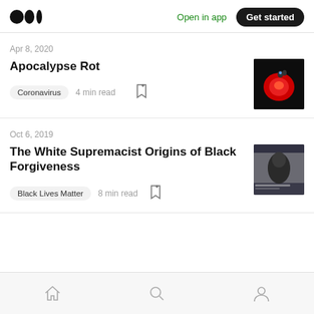Medium — Open in app — Get started
Apr 8, 2020
Apocalypse Rot
Coronavirus   4 min read
Oct 6, 2019
The White Supremacist Origins of Black Forgiveness
Black Lives Matter   8 min read